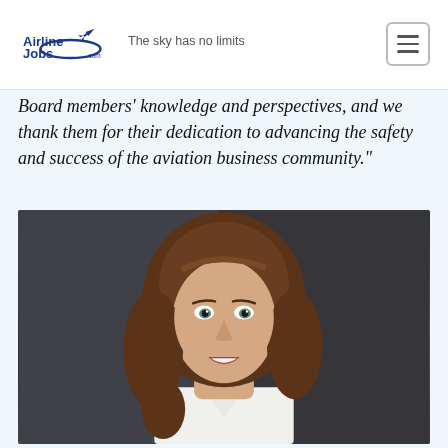AirlineJobs.com — The sky has no limits
Board members' knowledge and perspectives, and we thank them for their dedication to advancing the safety and success of the aviation business community."
[Figure (photo): Professional headshot of a smiling woman with brown hair, wearing a white top, against a dark grey background.]